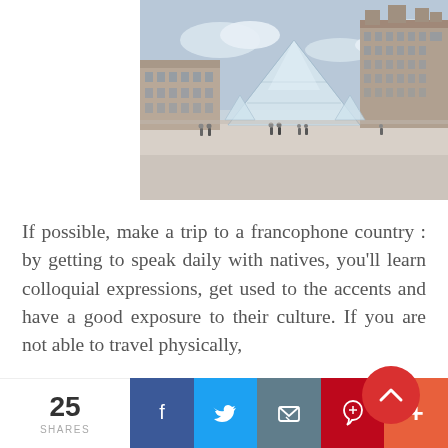[Figure (photo): Photograph of the Louvre Museum in Paris showing the iconic glass pyramid in the courtyard with the historic palace buildings in the background and tourists in the plaza]
If possible, make a trip to a francophone country : by getting to speak daily with natives, you'll learn colloquial expressions, get used to the accents and have a good exposure to their culture. If you are not able to travel physically,
25 SHARES | Facebook | Twitter | Email | Pinterest | More